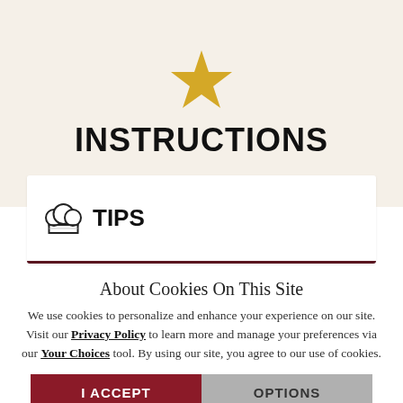[Figure (illustration): Gold/yellow star icon centered above INSTRUCTIONS heading]
INSTRUCTIONS
TIPS
About Cookies On This Site
We use cookies to personalize and enhance your experience on our site. Visit our Privacy Policy to learn more and manage your preferences via our Your Choices tool. By using our site, you agree to our use of cookies.
I ACCEPT
OPTIONS